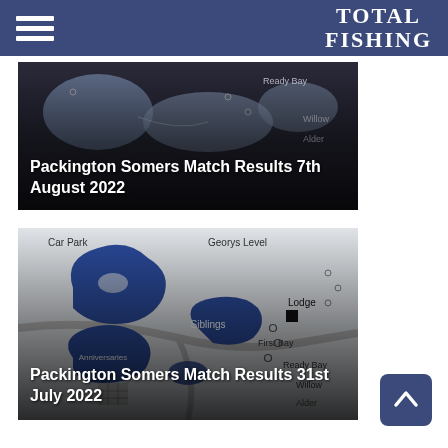TOTAL FISHING
[Figure (map): Fishing lake map with areas labeled Ready Bay, Willow, Alder shown as background for article card]
Packington Somers Match Results 7th August 2022
[Figure (map): Fishing lake map showing Car Park, Georys Level, Siblings, Anniversaries, First Bay, Ready Bay, Lodge, Willow, Alder labels with blue lake shapes]
Packington Somers Match Results 31st July 2022